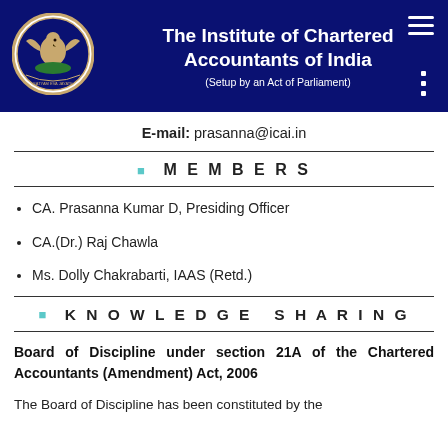The Institute of Chartered Accountants of India (Setup by an Act of Parliament)
E-mail: prasanna@icai.in
MEMBERS
CA. Prasanna Kumar D, Presiding Officer
CA.(Dr.) Raj Chawla
Ms. Dolly Chakrabarti, IAAS (Retd.)
KNOWLEDGE SHARING
Board of Discipline under section 21A of the Chartered Accountants (Amendment) Act, 2006
The Board of Discipline has been constituted by the